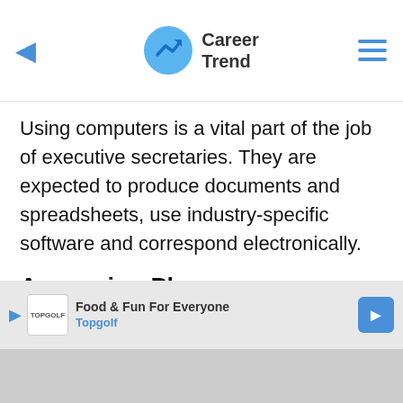Career Trend
Using computers is a vital part of the job of executive secretaries. They are expected to produce documents and spreadsheets, use industry-specific software and correspond electronically.
Answering Phones
Although an executive may answer his own phone at times, he may still prefer for his secretary to answer it when he is not available. Secretaries may also ha...
[Figure (screenshot): Advertisement banner for Topgolf: Food & Fun For Everyone]